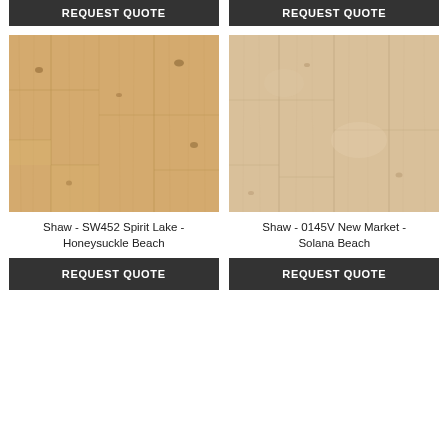[Figure (other): Request Quote button (top left) - dark background with white bold text]
[Figure (other): Request Quote button (top right) - dark background with white bold text]
[Figure (photo): Shaw SW452 Spirit Lake Honeysuckle Beach wood flooring sample - warm golden oak planks with natural grain and knots]
[Figure (photo): Shaw 0145V New Market Solana Beach wood flooring sample - lighter beige/tan wood planks with subtle grain]
Shaw - SW452 Spirit Lake - Honeysuckle Beach
Shaw - 0145V New Market - Solana Beach
[Figure (other): Request Quote button (bottom left) - dark background with white bold text]
[Figure (other): Request Quote button (bottom right) - dark background with white bold text]